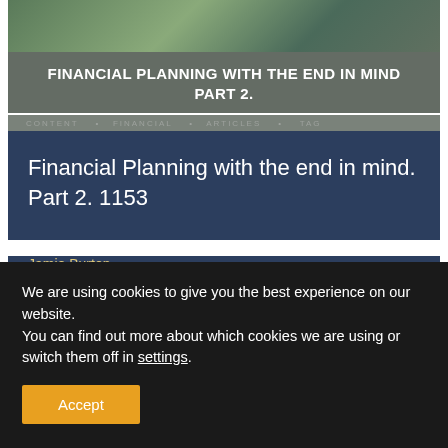[Figure (photo): Photo of people at top of first card, partially visible]
FINANCIAL PLANNING WITH THE END IN MIND PART 2.
Financial Planning with the end in mind. Part 2. 1153
Jamie Burton
[Figure (photo): Photo of older woman in blue shirt, partially visible]
We are using cookies to give you the best experience on our website.
You can find out more about which cookies we are using or switch them off in settings.
Accept